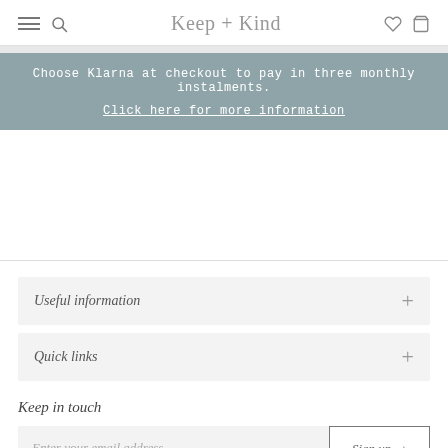Keep + Kind
Choose Klarna at checkout to pay in three monthly instalments. Click here for more information
Useful information
Quick links
Keep in touch
Enter your email address
Sign up